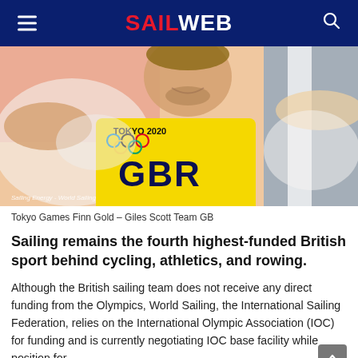SAILWEB
[Figure (photo): Giles Scott celebrating with GB flag at Tokyo 2020 Olympics, wearing yellow GB vest with Olympic rings and Tokyo 2020 branding]
Tokyo Games Finn Gold – Giles Scott Team GB
Sailing remains the fourth highest-funded British sport behind cycling, athletics, and rowing.
Although the British sailing team does not receive any direct funding from the Olympics, World Sailing, the International Sailing Federation, relies on the International Olympic Association (IOC) for funding and is currently negotiating IOC base facility while position for